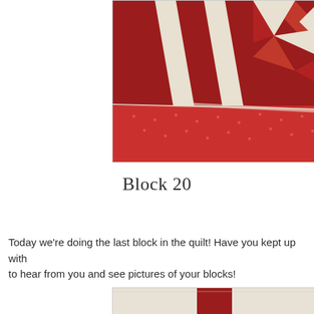[Figure (photo): Close-up photo of a red and cream/white quilt block with geometric triangular and strip patterns, showing a partially completed quilt block on a red patterned fabric background.]
Block 20
Today we're doing the last block in the quilt! Have you kept up with to hear from you and see pictures of your blocks!
[Figure (photo): Close-up photo of a red and cream quilt block, showing vertical red strip on cream/off-white fabric background.]